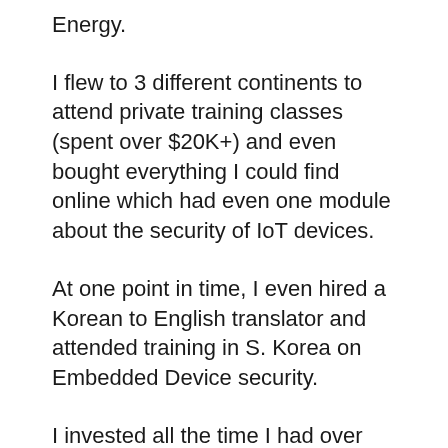Energy.
I flew to 3 different continents to attend private training classes (spent over $20K+) and even bought everything I could find online which had even one module about the security of IoT devices.
At one point in time, I even hired a Korean to English translator and attended training in S. Korea on Embedded Device security.
I invested all the time I had over the next 8 months in performing research using everything, and bought different routers, IP Cameras, any IoT device I could find within a $100, bricked many of those